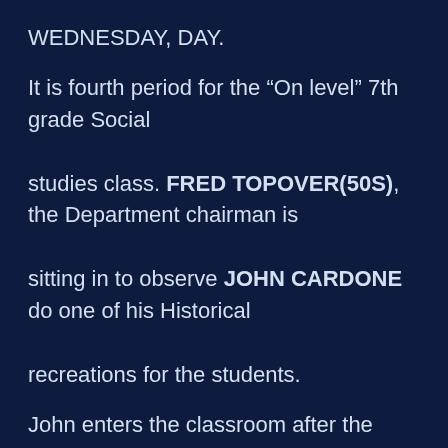WEDNESDAY, DAY.
It is fourth period for the “On level” 7th grade Social studies class. FRED TOPOVER(50S), the Department chairman is sitting in to observe JOHN CARDONE do one of his Historical recreations for the students.
John enters the classroom after the students are seated with a white wig on his head and a jacket similar to the kind worn